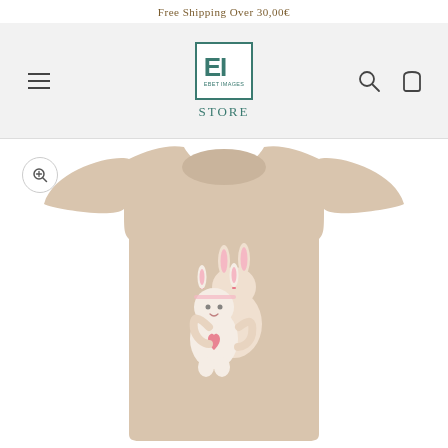Free Shipping Over 30,00€
[Figure (logo): EI Store logo — square border with letters EI in teal, subtitle 'EBET IMAGES', and 'STORE' text below]
[Figure (photo): Beige/sand colored baby onesie/t-shirt with a cute bunny character print — two small bunny figurines hugging, one wearing a bunny ear headband, pink heart on clothing. Shown on white background with a zoom button in top-left corner.]